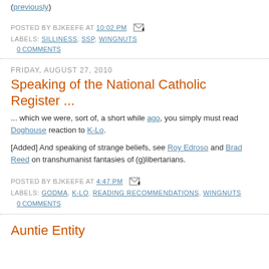(previously)
POSTED BY BJKEEFE AT 10:02 PM  [icon]
LABELS: SILLINESS, SSP, WINGNUTS
0 COMMENTS
FRIDAY, AUGUST 27, 2010
Speaking of the National Catholic Register ...
... which we were, sort of, a short while ago, you simply must read Doghouse reaction to K-Lo.
[Added] And speaking of strange beliefs, see Roy Edroso and Brad Reed on transhumanist fantasies of (g)libertarians.
POSTED BY BJKEEFE AT 4:47 PM  [icon]
LABELS: GODMA, K-LO, READING RECOMMENDATIONS, WINGNUTS
0 COMMENTS
Auntie Entity